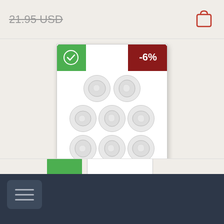21.95 USD (strikethrough)
[Figure (screenshot): Book cover for Nine Lies About Work by Marcus Buckingham and Ashley Goodall, showing nine crumpled paper balls in a 3x3 grid, with green checkmark badge top-left and -6% red discount badge top-right]
Nine Lies About Work
28.10 USD
30.00 USD (strikethrough)